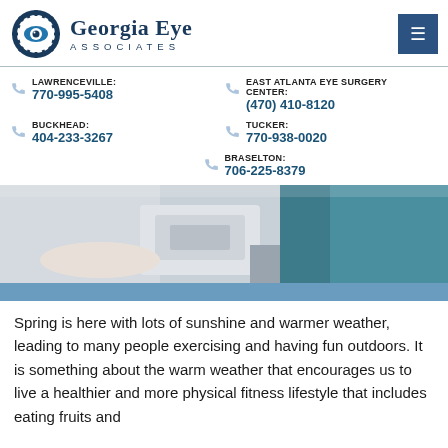Georgia Eye Associates
LAWRENCEVILLE: 770-995-5408
EAST ATLANTA EYE SURGERY CENTER: (470) 410-8120
BUCKHEAD: 404-233-3267
TUCKER: 770-938-0020
BRASELTON: 706-225-8379
[Figure (photo): A doctor in a white coat using eye examination equipment with a patient in a teal shirt]
Spring is here with lots of sunshine and warmer weather, leading to many people exercising and having fun outdoors. It is something about the warm weather that encourages us to live a healthier and more physical fitness lifestyle that includes eating fruits and